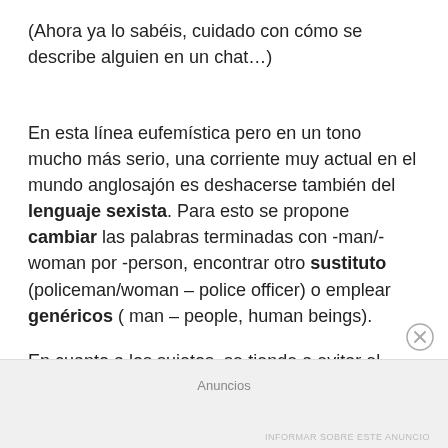(Ahora ya lo sabéis, cuidado con cómo se describe alguien en un chat…)
En esta línea eufemística pero en un tono mucho más serio, una corriente muy actual en el mundo anglosajón es deshacerse también del lenguaje sexista. Para esto se propone cambiar las palabras terminadas con -man/-woman por -person, encontrar otro sustituto (policeman/woman – police officer) o emplear genéricos ( man – people, human beings).
En cuanto a los sujetos, se tiende a evitar el masculino «he» de diversas formas:
Anuncios